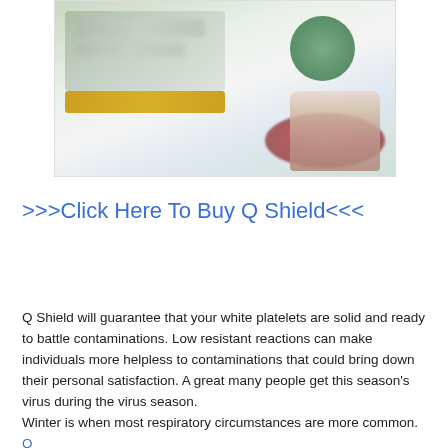[Figure (photo): Blurred product photo showing supplement bottles with a yellow/gold button on the left and red/green circular elements on the right, against a light background.]
>>>Click Here To Buy Q Shield<<<
Q Shield will guarantee that your white platelets are solid and ready to battle contaminations. Low resistant reactions can make individuals more helpless to contaminations that could bring down their personal satisfaction. A great many people get this season's virus during the virus season.
Winter is when most respiratory circumstances are more common. Q